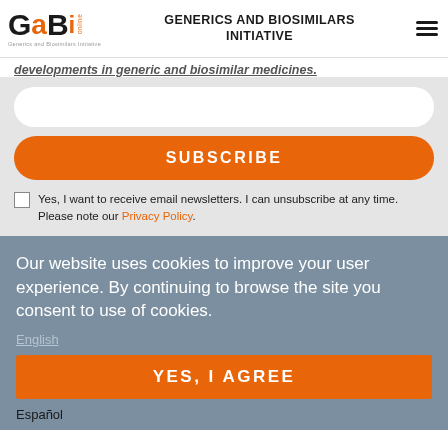GaBi online — GENERICS AND BIOSIMILARS INITIATIVE
developments in generic and biosimilar medicines.
SUBSCRIBE
Yes, I want to receive email newsletters. I can unsubscribe at any time. Please note our Privacy Policy.
Our website uses cookies to improve your user experience. By continuing to browse the site you consent to use of cookies.
English
YES, I AGREE
Español